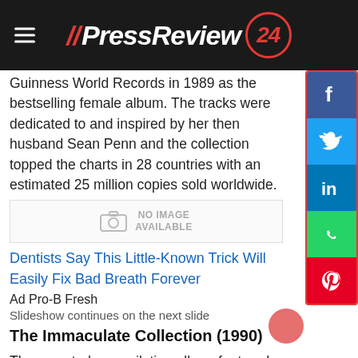// PressReview 24
Guinness World Records in 1989 as the bestselling female album. The tracks were dedicated to and inspired by her then husband Sean Penn and the collection topped the charts in 28 countries with an estimated 25 million copies sold worldwide.
[Figure (other): No image available placeholder with camera icon]
Dentists Say This Little-Known Trick Will Easily Fix Bad Breath Forever
Ad Pro-B Fresh
Slideshow continues on the next slide
The Immaculate Collection (1990)
The pop star's compilation album featured remixes of 15 previous hits as well as two brand new tracks. It was unique for being the first to use QSound technology in its production. The record was dedicated to the Pope and sold over 30 million copies worldwide to become